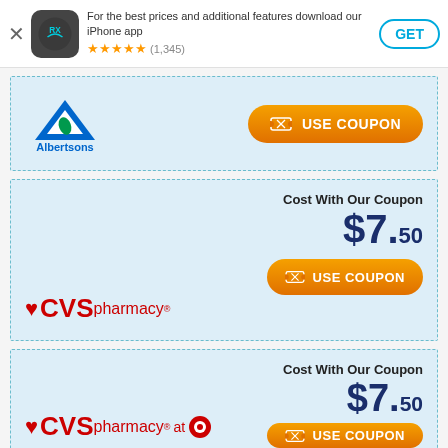For the best prices and additional features download our iPhone app ★★★★★ (1,345)
[Figure (logo): Albertsons pharmacy logo with blue triangle and leaf icon]
[Figure (other): USE COUPON orange button for Albertsons]
Cost With Our Coupon $7.50
[Figure (logo): CVS pharmacy logo with red heart and red text]
[Figure (other): USE COUPON orange button for CVS pharmacy]
Cost With Our Coupon $7.50
[Figure (logo): CVS pharmacy at Target logo with red heart, red CVS text, and Target bullseye]
[Figure (other): USE COUPON orange button for CVS at Target (partially visible)]